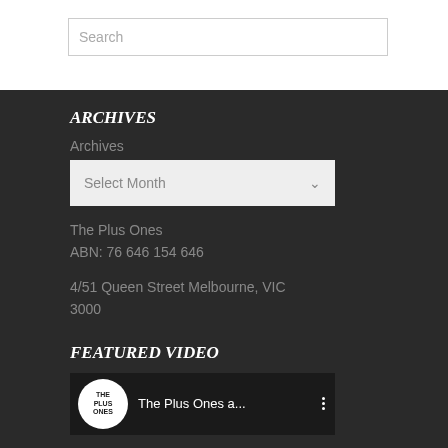Search
ARCHIVES
Archives
Select Month
The Plus Ones
ABN: 76 646 154 646
4/51 Queen Street Melbourne, VIC 3000
FEATURED VIDEO
[Figure (screenshot): YouTube video thumbnail showing The Plus Ones channel logo (circular white badge with THE PLUS ONES text) and video title 'The Plus Ones a...' with three-dot menu icon, on dark background]